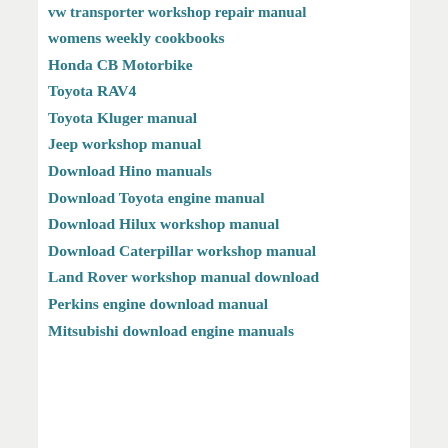vw transporter workshop repair manual
womens weekly cookbooks
Honda CB Motorbike
Toyota RAV4
Toyota Kluger manual
Jeep workshop manual
Download Hino manuals
Download Toyota engine manual
Download Hilux workshop manual
Download Caterpillar workshop manual
Land Rover workshop manual download
Perkins engine download manual
Mitsubishi download engine manuals